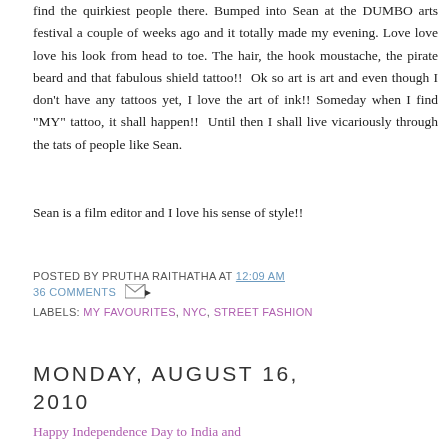find the quirkiest people there. Bumped into Sean at the DUMBO arts festival a couple of weeks ago and it totally made my evening. Love love love his look from head to toe. The hair, the hook moustache, the pirate beard and that fabulous shield tattoo!! Ok so art is art and even though I don't have any tattoos yet, I love the art of ink!! Someday when I find "MY" tattoo, it shall happen!! Until then I shall live vicariously through the tats of people like Sean.
Sean is a film editor and I love his sense of style!!
POSTED BY PRUTHA RAITHATHA AT 12:09 AM
36 COMMENTS
LABELS: MY FAVOURITES, NYC, STREET FASHION
MONDAY, AUGUST 16, 2010
Happy Independence Day to India and